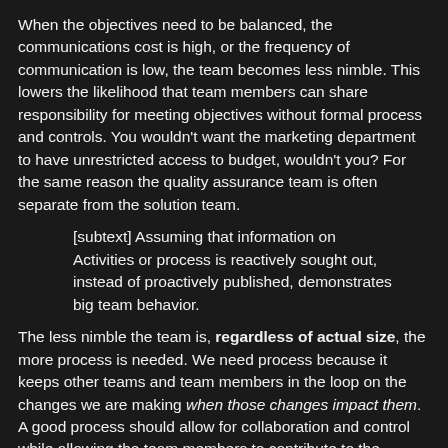When the objectives need to be balanced, the communications cost is high, or the frequency of communication is low, the team becomes less nimble. This lowers the likelihood that team members can share responsibility for meeting objectives without formal process and controls. You wouldn't want the marketing department to have unrestricted access to budget, wouldn't you? For the same reason the quality assurance team is often separate from the solution team.
[subtext] Assuming that information on Activities or process is reactively sought out, instead of proactively published, demonstrates big team behavior.
The less nimble the team is, regardless of actual size, the more process is needed. We need process because it keeps other teams and team members in the loop on the changes we are making when those changes impact them. A good process should allow for collaboration and control while allowing the team members to contribute to the objectives in their own way.